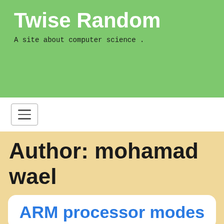Twise Random
A site about computer science .
[Figure (other): Navigation bar with hamburger menu button]
Author: mohamad wael
ARM processor modes
Posted on August 11, 2021 by mohamad wael